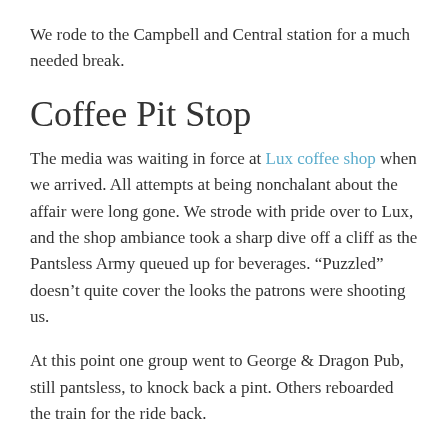We rode to the Campbell and Central station for a much needed break.
Coffee Pit Stop
The media was waiting in force at Lux coffee shop when we arrived. All attempts at being nonchalant about the affair were long gone. We strode with pride over to Lux, and the shop ambiance took a sharp dive off a cliff as the Pantsless Army queued up for beverages. “Puzzled” doesn’t quite cover the looks the patrons were shooting us.
At this point one group went to George & Dragon Pub, still pantsless, to knock back a pint. Others reboarded the train for the ride back.